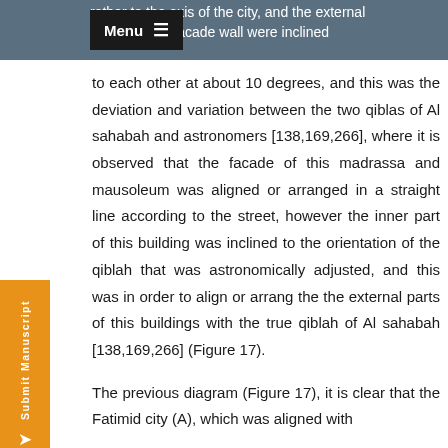Menu
rather to the axis of the city, and the external the facade wall were inclined to each other at about 10 degrees, and this was the deviation and variation between the two qiblas of Al sahabah and astronomers [138,169,266], where it is observed that the facade of this madrassa and mausoleum was aligned or arranged in a straight line according to the street, however the inner part of this building was inclined to the orientation of the qiblah that was astronomically adjusted, and this was in order to align or arrang the the external parts of this buildings with the true qiblah of Al sahabah [138,169,266] (Figure 17).
The previous diagram (Figure 17), it is clear that the Fatimid city (A), which was aligned with